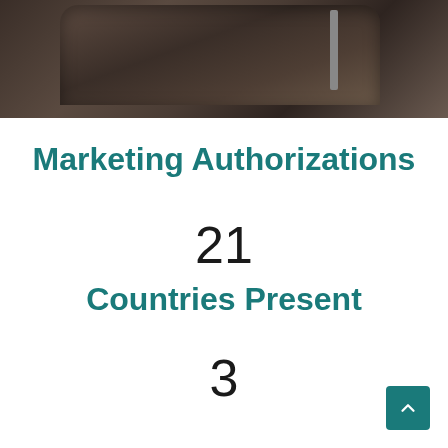[Figure (photo): Top portion of a photo showing dark wooden furniture/desk surface]
Marketing Authorizations
21
Countries Present
3